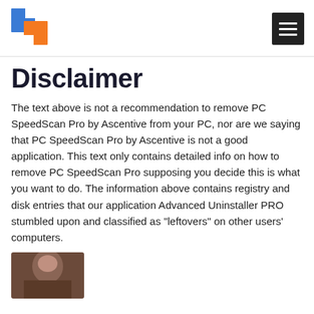[Figure (logo): Square logo with blue left panel and orange right panel, resembling two overlapping squares]
[Figure (other): Hamburger menu icon — three white horizontal lines on dark background]
Disclaimer
The text above is not a recommendation to remove PC SpeedScan Pro by Ascentive from your PC, nor are we saying that PC SpeedScan Pro by Ascentive is not a good application. This text only contains detailed info on how to remove PC SpeedScan Pro supposing you decide this is what you want to do. The information above contains registry and disk entries that our application Advanced Uninstaller PRO stumbled upon and classified as "leftovers" on other users' computers.
[Figure (photo): Partial photo of a person, cropped at bottom of page]